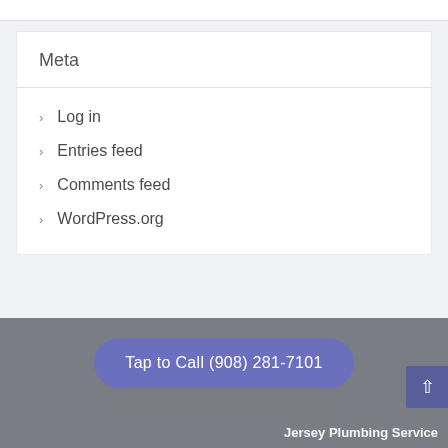Meta
Log in
Entries feed
Comments feed
WordPress.org
Tap to Call (908) 281-7101
Jersey Plumbing Service